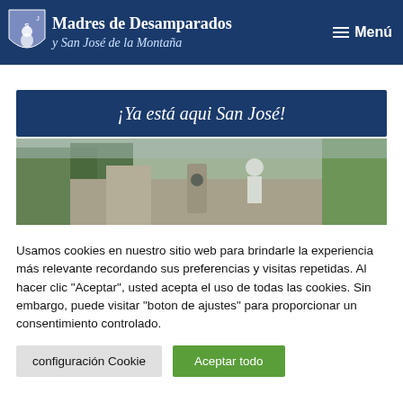Madres de Desamparados y San José de la Montaña — Menú
¡Ya está aqui San José!
[Figure (photo): Outdoor photo showing stone statues and palm trees, likely a religious garden or shrine site]
Usamos cookies en nuestro sitio web para brindarle la experiencia más relevante recordando sus preferencias y visitas repetidas. Al hacer clic "Aceptar", usted acepta el uso de todas las cookies. Sin embargo, puede visitar "boton de ajustes" para proporcionar un consentimiento controlado.
configuración Cookie | Aceptar todo